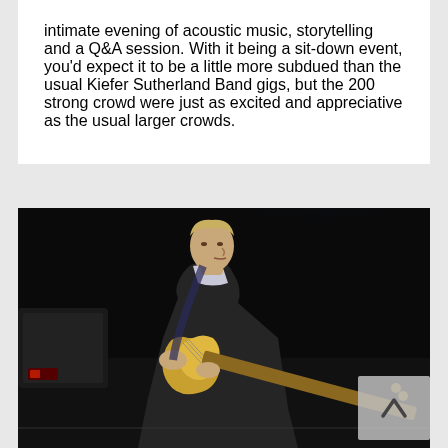intimate evening of acoustic music, storytelling and a Q&A session. With it being a sit-down event, you'd expect it to be a little more subdued than the usual Kiefer Sutherland Band gigs, but the 200 strong crowd were just as excited and appreciative as the usual larger crowds.
[Figure (photo): Kiefer Sutherland playing guitar on stage under a bright spotlight, with dark background. A scroll-up button overlay appears in the bottom-right corner.]